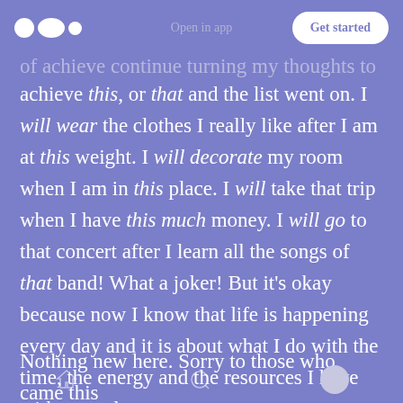Open in app | Get started
achieve this, or that and the list went on. I will wear the clothes I really like after I am at this weight. I will decorate my room when I am in this place. I will take that trip when I have this much money. I will go to that concert after I learn all the songs of that band! What a joker! But it’s okay because now I know that life is happening every day and it is about what I do with the time, the energy and the resources I have with me today.
Nothing new here. Sorry to those who came this